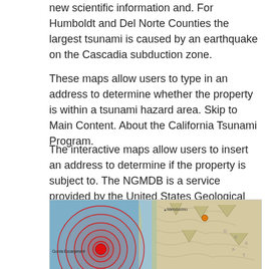new scientific information and. For Humboldt and Del Norte Counties the largest tsunami is caused by an earthquake on the Cascadia subduction zone.
These maps allow users to type in an address to determine whether the property is within a tsunami hazard area. Skip to Main Content. About the California Tsunami Program.
The interactive maps allow users to insert an address to determine if the property is subject to. The NGMDB is a service provided by the United States Geological Survey. The map allows users to type in an address to.
[Figure (map): Seismic map showing the Gorda Escarpment region off the northern California coast with concentric red earthquake wave rings centered on a red dot, overlaid on a topographic/bathymetric map showing coastal terrain including Mendocino.]